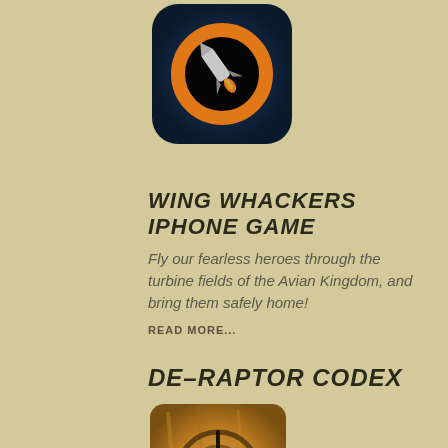[Figure (logo): Wing Whackers iPhone game app icon — dark blue/black rounded rectangle with orange ring and a rocket/paintbrush icon in center]
WING WHACKERS IPHONE GAME
Fly our fearless heroes through the turbine fields of the Avian Kingdom, and bring them safely home!
READ MORE...
DE-RAPTOR CODEX
[Figure (illustration): De-Raptor Codex emblem — a stylized treble-clef-like symbol on a worn golden/parchment background within a rounded square frame]